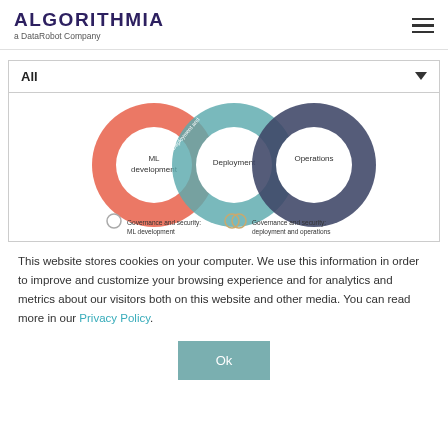ALGORITHMIA a DataRobot Company
[Figure (infographic): Venn-style donut diagram showing three overlapping circles: ML development (red/coral), Deployment (teal), Operations (dark navy). Below are two legend items: 'Governance and security: ML development' and 'Governance and security: deployment and operations'.]
This website stores cookies on your computer. We use this information in order to improve and customize your browsing experience and for analytics and metrics about our visitors both on this website and other media. You can read more in our Privacy Policy.
Ok